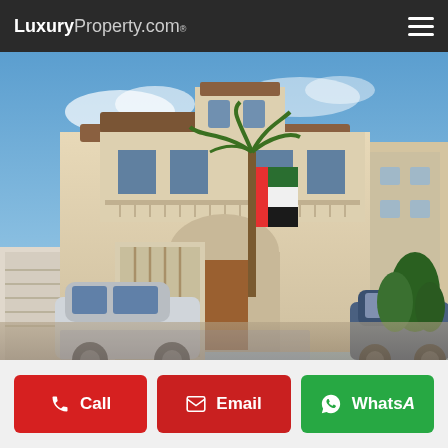LuxuryProperty.com
[Figure (photo): Exterior photo of a large luxury Mediterranean-style villa with cream/beige facade, arched windows, multiple stories, palm trees, UAE flag hanging at entrance, luxury SUV parked in driveway, blue sky with clouds]
Call  Email  WhatsA